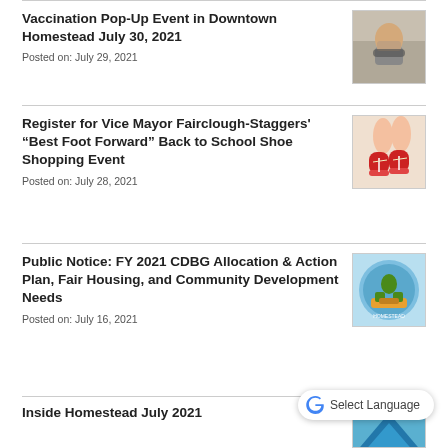Vaccination Pop-Up Event in Downtown Homestead July 30, 2021
Posted on: July 29, 2021
[Figure (photo): Person wearing a mask, seated, COVID-19 vaccination related image]
Register for Vice Mayor Fairclough-Staggers' “Best Foot Forward” Back to School Shoe Shopping Event
Posted on: July 28, 2021
[Figure (photo): Child's feet in red sneakers being tied]
Public Notice: FY 2021 CDBG Allocation & Action Plan, Fair Housing, and Community Development Needs
Posted on: July 16, 2021
[Figure (logo): City of Homestead logo badge with palm trees and city bus]
Inside Homestead July 2021